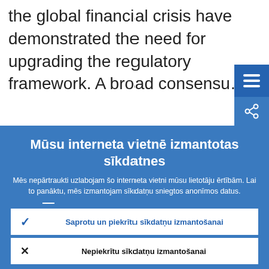the global financial crisis have demonstrated the need for upgrading the regulatory framework. A broad consensus...
Mūsu interneta vietnē izmantotas sīkdatnes
Mēs nepārtraukti uzlabojam šo interneta vietni mūsu lietotāju ērtībām. Lai to panāktu, mēs izmantojam sīkdatņu sniegtos anonīmos datus.
Sīkāka informācija par sīkdatņu izmantošanu
Saprotu un piekrītu sīkdatņu izmantošanai
Nepiekrītu sīkdatņu izmantošanai